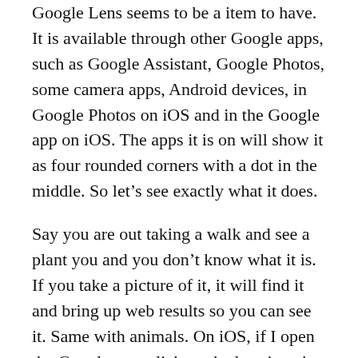Google Lens seems to be a item to have. It is available through other Google apps, such as Google Assistant, Google Photos, some camera apps, Android devices, in Google Photos on iOS and in the Google app on iOS. The apps it is on will show it as four rounded corners with a dot in the middle. So let’s see exactly what it does.
Say you are out taking a walk and see a plant you and you don’t know what it is. If you take a picture of it, it will find it and bring up web results so you can see it. Same with animals. On iOS, if I open the Google app, click on the lens icon in the search bar, I can see it has accessed my camera (I had given previous permissions) and some dots appear. If I click on one of the dots, it will find the item I have clicked on.
If you hover over text that is in another language,